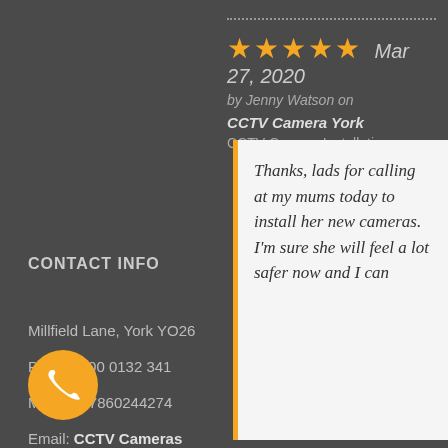[Figure (other): Five orange star rating icons followed by date Mar 27, 2020 in italic]
by Jenny Watson on
CCTV Camera York
CCTV Camera Installation
CONTACT INFO
Millfield Lane, York YO26
Phone: 800 0132 341
Mobile: 07860244274
Email: CCTV Cameras Email
Web: CCTV Cameras Website
Thanks, lads for calling at my mums today to install her new cameras. I'm sure she will feel a lot safer now and I can
[Figure (illustration): Orange circular phone call button with white phone handset icon]